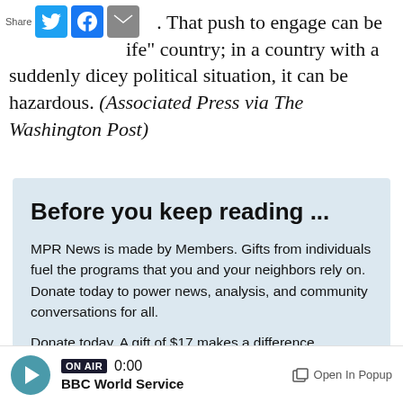American students. That push to engage can be [share icons] life" country; in a country with a suddenly dicey political situation, it can be hazardous. (Associated Press via The Washington Post)
Before you keep reading ...
MPR News is made by Members. Gifts from individuals fuel the programs that you and your neighbors rely on. Donate today to power news, analysis, and community conversations for all.
Donate today. A gift of $17 makes a difference.
Support MPR News Today ♥
ON AIR  0:00  BBC World Service  Open In Popup